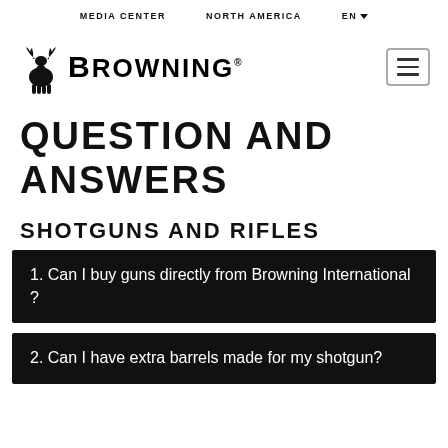MEDIA CENTER   NORTH AMERICA   EN
[Figure (logo): Browning deer logo with text BROWNING]
QUESTION AND ANSWERS
SHOTGUNS AND RIFLES
1. Can I buy guns directly from Browning International ?
2. Can I have extra barrels made for my shotgun?